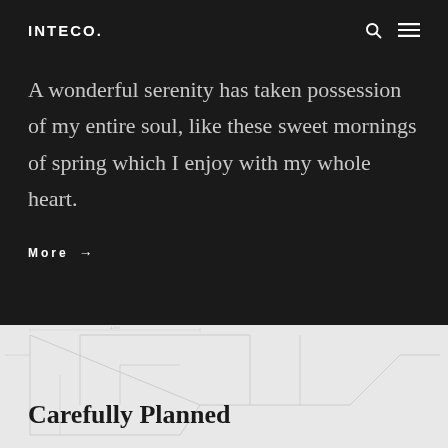INTECO.
A wonderful serenity has taken possession of my entire soul, like these sweet mornings of spring which I enjoy with my whole heart.
More →
[Figure (illustration): Light gray background section with faint blueprint/architectural sketch lines, partially visible text reading 'Carefully Planned' at the bottom]
Carefully Planned